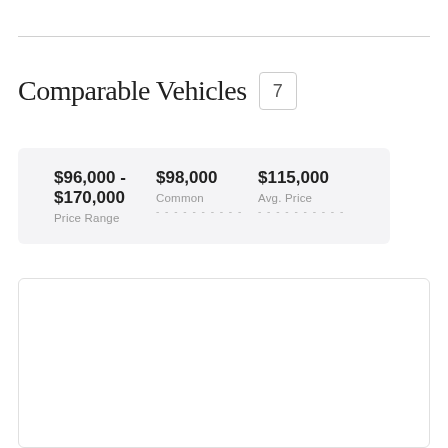Comparable Vehicles 7
| Price Range | Common | Avg. Price |
| --- | --- | --- |
| $96,000 - $170,000 | $98,000 | $115,000 |
[Figure (other): Empty white box with border — placeholder for vehicle listings or chart]